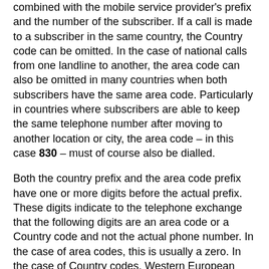combined with the mobile service provider's prefix and the number of the subscriber. If a call is made to a subscriber in the same country, the Country code can be omitted. In the case of national calls from one landline to another, the area code can also be omitted in many countries when both subscribers have the same area code. Particularly in countries where subscribers are able to keep the same telephone number after moving to another location or city, the area code – in this case 830 – must of course also be dialled.
Both the country prefix and the area code prefix have one or more digits before the actual prefix. These digits indicate to the telephone exchange that the following digits are an area code or a Country code and not the actual phone number. In the case of area codes, this is usually a zero. In the case of Country codes, Western European countries and most countries in Africa, South America and the Middle East follow the ITU recommendation to use two zeros. However, some countries do not adhere to this recommendation: For example, the countries that